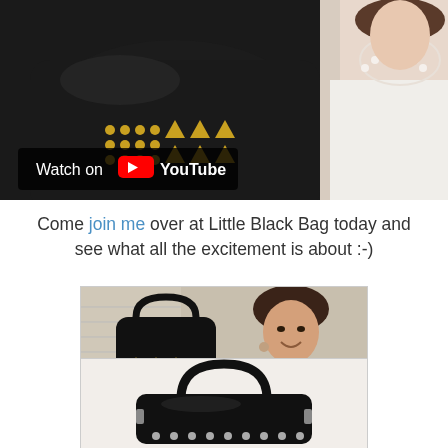[Figure (photo): YouTube video thumbnail showing a black studded handbag with gold studs and triangles on the left side, and a woman wearing white with a pearl necklace on the right. A 'Watch on YouTube' overlay button is shown in the lower left of the image.]
Come join me over at Little Black Bag today and see what all the excitement is about :-)
[Figure (photo): Photo of a smiling young woman with dark hair holding up a black handbag decorated with gold triangle studs and circular gold studs. She is wearing a light pink/cream top and gold necklace. A small owl stuffed animal is visible on the right.]
[Figure (photo): Close-up photo of a black leather handbag with two handles, gold/silver stud trim along the bottom, and structured rectangular shape, shown against a light background.]